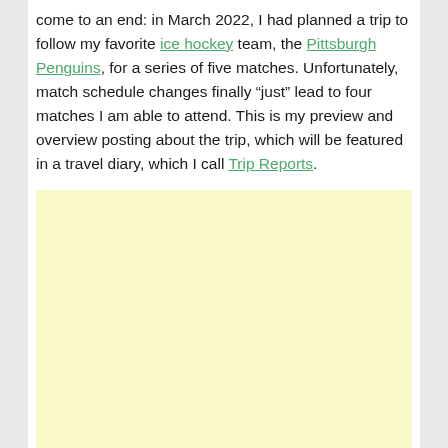come to an end: in March 2022, I had planned a trip to follow my favorite ice hockey team, the Pittsburgh Penguins, for a series of five matches. Unfortunately, match schedule changes finally “just” lead to four matches I am able to attend. This is my preview and overview posting about the trip, which will be featured in a travel diary, which I call Trip Reports.
[Figure (other): Light yellow advertisement placeholder box]